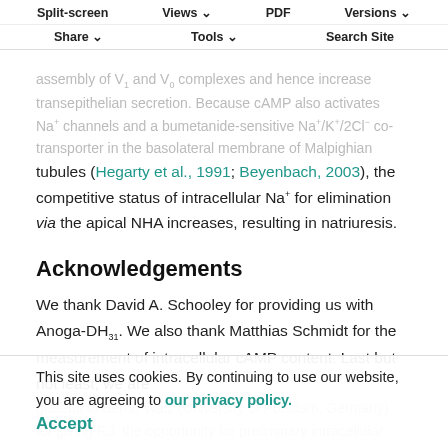Split-screen  Views  PDF  Versions  Share  Tools  Search Site
assembly of V1 and V0 complexes and hence increase transepithelian secretion. Because cAMP also activates Na+ channels and a bumetanide-sensitive Na+/K+/2Cl- co-transporter in the basolateral membrane of Malpighian tubules (Hegarty et al., 1991; Beyenbach, 2003), the competitive status of intracellular Na+ for elimination via the apical NHA increases, resulting in natriuresis.
Acknowledgements
We thank David A. Schooley for providing us with Anoga-DH31. We also thank Matthias Schmidt for the measurement of intracellular cAMP content. Last but not least, we are grateful to Bernd Walz (University of Potsdam, Germany) for giving F.J. the opportunity for preliminary intracellular pH measurements in Malpighian tubules.
This site uses cookies. By continuing to use our website, you are agreeing to our privacy policy. Accept